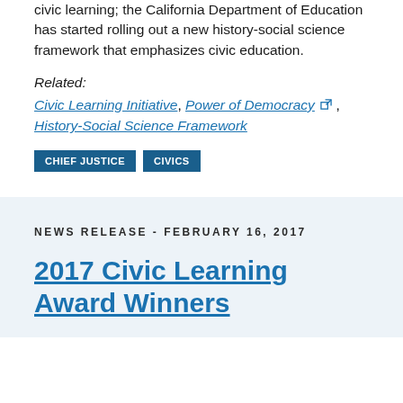civic learning; the California Department of Education has started rolling out a new history-social science framework that emphasizes civic education.
Related:
Civic Learning Initiative, Power of Democracy, History-Social Science Framework
CHIEF JUSTICE
CIVICS
NEWS RELEASE - FEBRUARY 16, 2017
2017 Civic Learning Award Winners